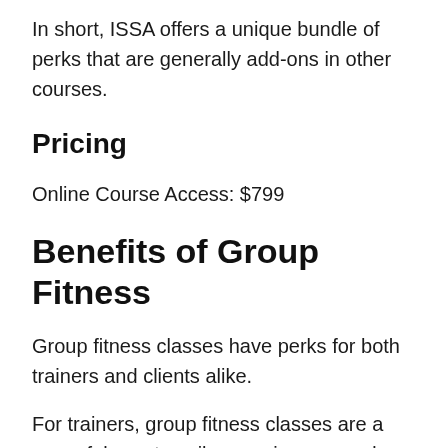In short, ISSA offers a unique bundle of perks that are generally add-ons in other courses.
Pricing
Online Course Access: $799
Benefits of Group Fitness
Group fitness classes have perks for both trainers and clients alike.
For trainers, group fitness classes are a powerful way to spike your income and client load with their services and...